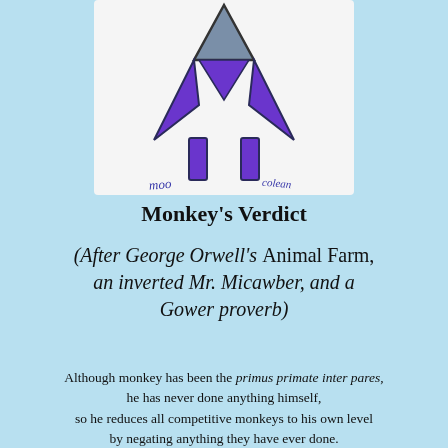[Figure (illustration): A child's drawing of a stick figure with a grey triangular head, wearing a purple outfit with a purple cape/jacket and purple legs, on a white background. Handwritten text 'moo' and 'colean' visible at the bottom of the drawing.]
Monkey's Verdict
(After George Orwell's Animal Farm, an inverted Mr. Micawber, and a Gower proverb)
Although monkey has been the primus primate inter pares, he has never done anything himself, so he reduces all competitive monkeys to his own level by negating anything they have ever done.